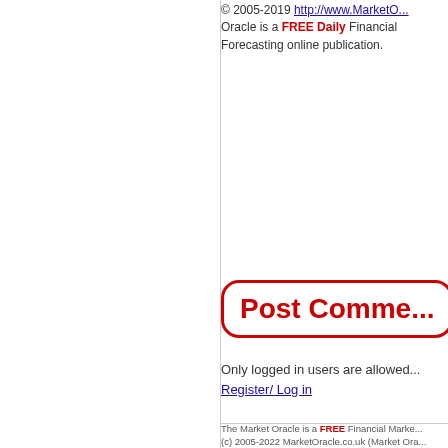© 2005-2019 http://www.MarketO... Oracle is a FREE Daily Financial Forecasting online publication.
[Figure (other): Post Comment button with red rounded rectangle border and red bold text]
Only logged in users are allowed Register/ Log in
The Market Oracle is a FREE Financial Marke... (c) 2005-2022 MarketOracle.co.uk (Market Ora... copyright on all articles authored by our editorial... and all information provided within the web-s... purposes only and Market Oracle Ltd do not wa... suitability of any information provided on this site... constitute, financial or any other advice or recom... meant to be investment advice or solicitation or...